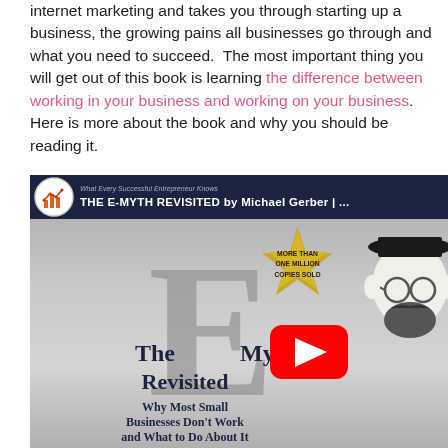internet marketing and takes you through starting up a business, the growing pains all businesses go through and what you need to succeed.  The most important thing you will get out of this book is learning the difference between working in your business and working on your business. Here is more about the book and why you should be reading it.
[Figure (screenshot): YouTube video thumbnail for 'THE E-MYTH REVISITED by Michael Gerber' showing the book cover with a large E, the title 'The E Myth Revisited', subtitle 'Why Most Small Businesses Don't Work and What to Do About It', a gold starburst badge reading 'MORE THAN ONE MILLION COPIES SOLD', a YouTube play button, and an illustrated person on the right side.]